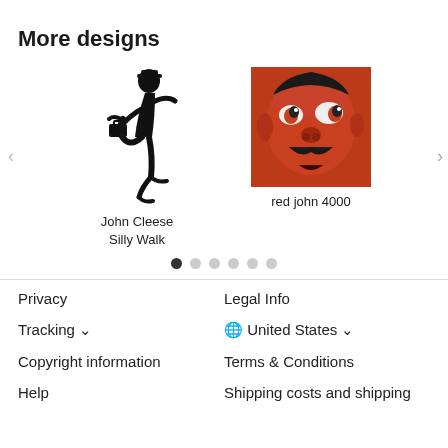More designs
[Figure (illustration): John Cleese Silly Walk black silhouette illustration]
John Cleese Silly Walk
[Figure (illustration): Red john 4000 - red toned comic face illustration]
red john 4000
Privacy | Legal Info | Tracking | United States | Copyright information | Terms & Conditions | Help | Shipping costs and shipping